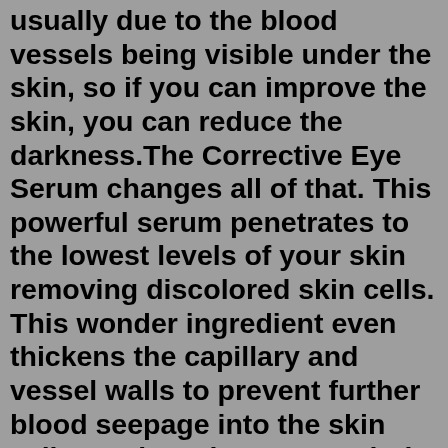usually due to the blood vessels being visible under the skin, so if you can improve the skin, you can reduce the darkness.The Corrective Eye Serum changes all of that. This powerful serum penetrates to the lowest levels of your skin removing discolored skin cells. This wonder ingredient even thickens the capillary and vessel walls to prevent further blood seepage into the skin cells. In short, it removes dark circles and prevents them from returning.Feb 15, 2022 · Proponents say it reduces wrinkles, scarring, and even pigment issues, like dark circles and under-eye bags. The procedure involves fine needles that are used to puncture the skin. The Eye Perfector's formula includes 5 percent L-ascorbic acid and hyaluronic acid to brighten and hydrate under-eye skin, as well as anti-inflammatory green tea extract and CBD. The reason this ...Sep 17, 2021 · Well, the brand has done it again. The skin-care brand that derms and beauty lovers can't seem to stop praising, thanks to its science-backed formulations and quality ingredients, expanded its lineup with yet another